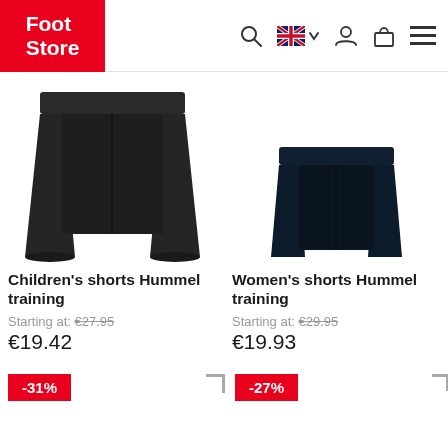Foot Store
[Figure (photo): Black children's training shorts (Hummel), top cropped view]
Children's shorts Hummel training
Starting at: €27.95
€19.42
[Figure (photo): Navy women's training shorts (Hummel), top cropped view]
Women's shorts Hummel training
Starting at: €29.95
€19.93
[Figure (photo): Grey children's Hummel shorts with -31% discount badge]
[Figure (photo): Green Hummel training shorts with -27% discount badge]